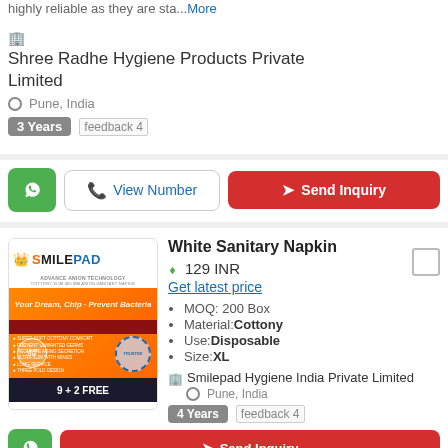highly reliable as they are sta... More
Shree Radhe Hygiene Products Private Limited
Pune, India
3 Years  feedback 4
View Number  Send Inquiry
[Figure (photo): SmilePad sanitary napkin product packaging image with orange and dark red branding]
White Sanitary Napkin
129 INR
Get latest price
MOQ: 200 Box
Material:Cottony
Use:Disposable
Size:XL
Smilepad Hygiene India Private Limited
Pune, India
4 Years  feedback 4